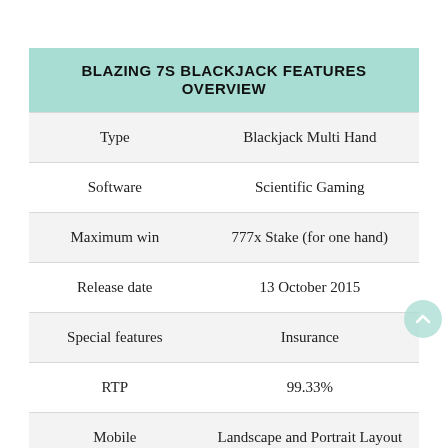|  |  |
| --- | --- |
| BLAZING 7S BLACKJACK FEATURES OVERVIEW |  |
| Type | Blackjack Multi Hand |
| Software | Scientific Gaming |
| Maximum win | 777x Stake (for one hand) |
| Release date | 13 October 2015 |
| Special features | Insurance |
| RTP | 99.33% |
| Mobile | Landscape and Portrait Layout |
| Side Bets | Bet on 777 |